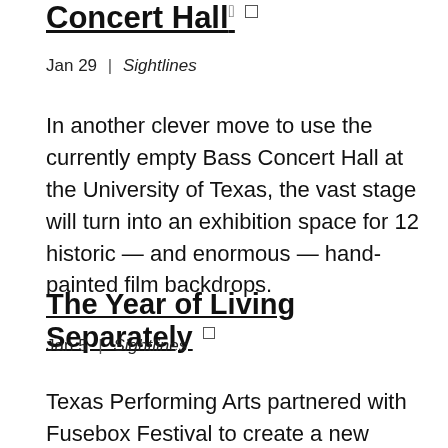Concert Hall
Jan 29  |  Sightlines
In another clever move to use the currently empty Bass Concert Hall at the University of Texas, the vast stage will turn into an exhibition space for 12 historic — and enormous — hand-painted film backdrops.
The Year of Living Separately
Jan 5  |  Sightlines
Texas Performing Arts partnered with Fusebox Festival to create a new production residency program that gave financial and